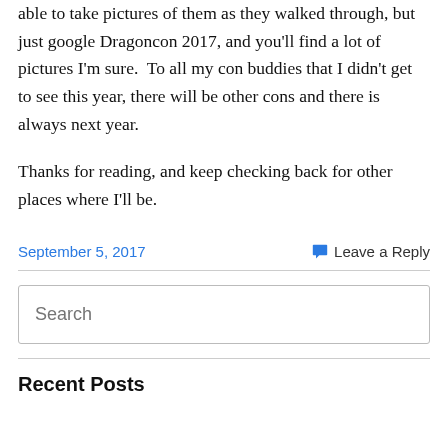able to take pictures of them as they walked through, but just google Dragoncon 2017, and you'll find a lot of pictures I'm sure.  To all my con buddies that I didn't get to see this year, there will be other cons and there is always next year.
Thanks for reading, and keep checking back for other places where I'll be.
September 5, 2017
Leave a Reply
Recent Posts